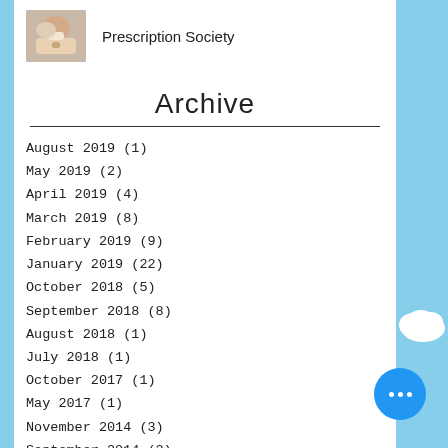[Figure (photo): Small photo of a hand holding a pill or medication, used as a logo/header image for Prescription Society]
Prescription Society
Archive
August 2019 (1)
May 2019 (2)
April 2019 (4)
March 2019 (8)
February 2019 (9)
January 2019 (22)
October 2018 (5)
September 2018 (8)
August 2018 (1)
July 2018 (1)
October 2017 (1)
May 2017 (1)
November 2014 (3)
September 2014 (2)
August 2014 (1)